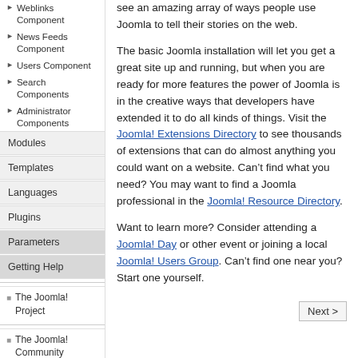Weblinks Component
News Feeds Component
Users Component
Search Components
Administrator Components
Modules
Templates
Languages
Plugins
Parameters
Getting Help
The Joomla! Project
The Joomla! Community
see an amazing array of ways people use Joomla to tell their stories on the web.
The basic Joomla installation will let you get a great site up and running, but when you are ready for more features the power of Joomla is in the creative ways that developers have extended it to do all kinds of things. Visit the Joomla! Extensions Directory to see thousands of extensions that can do almost anything you could want on a website. Can’t find what you need? You may want to find a Joomla professional in the Joomla! Resource Directory.
Want to learn more? Consider attending a Joomla! Day or other event or joining a local Joomla! Users Group. Can’t find one near you? Start one yourself.